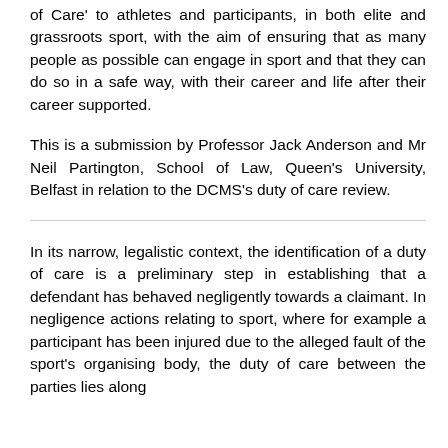of Care' to athletes and participants, in both elite and grassroots sport, with the aim of ensuring that as many people as possible can engage in sport and that they can do so in a safe way, with their career and life after their career supported.
This is a submission by Professor Jack Anderson and Mr Neil Partington, School of Law, Queen's University, Belfast in relation to the DCMS's duty of care review.
In its narrow, legalistic context, the identification of a duty of care is a preliminary step in establishing that a defendant has behaved negligently towards a claimant. In negligence actions relating to sport, where for example a participant has been injured due to the alleged fault of the sport's organising body, the duty of care between the parties lies along